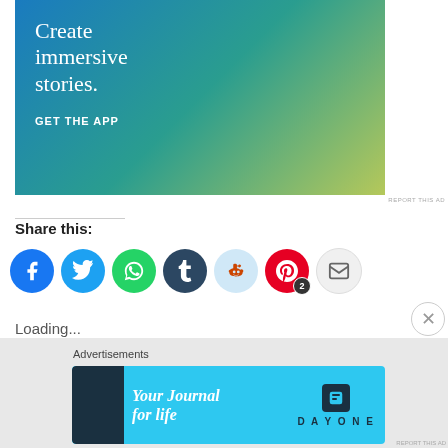[Figure (screenshot): App advertisement banner: 'Create immersive stories. GET THE APP' with phone mockup showing Skogafoss waterfall visit]
REPORT THIS AD
Share this:
[Figure (infographic): Social share buttons: Facebook (blue), Twitter (blue), WhatsApp (green), Tumblr (dark blue), Reddit (light blue), Pinterest (red, badge 2), Email (grey)]
Loading...
Advertisements
[Figure (screenshot): Day One app advertisement: 'Your Journal for life' with phone mockup and Day One logo]
REPORT THIS AD